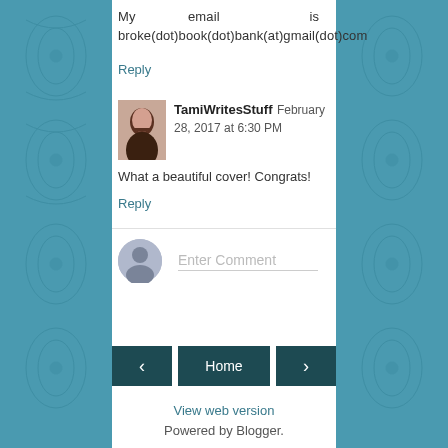My email is broke(dot)book(dot)bank(at)gmail(dot)com
Reply
TamiWritesStuff February 28, 2017 at 6:30 PM
What a beautiful cover! Congrats!
Reply
Enter Comment
Home
View web version
Powered by Blogger.